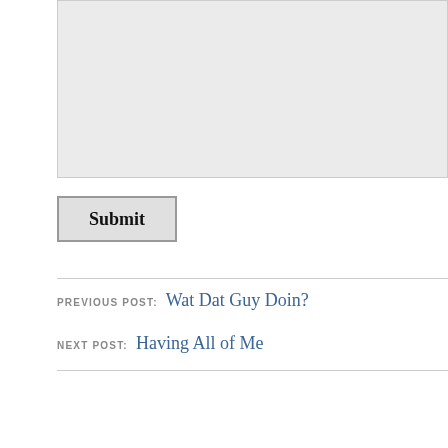[Figure (screenshot): A light gray textarea input box (comment/text area), partially visible, cropped at top and right edge]
[Figure (screenshot): A Submit button with bold text, bordered with gray, on white background]
PREVIOUS POST: Wat Dat Guy Doin?
NEXT POST: Having All of Me